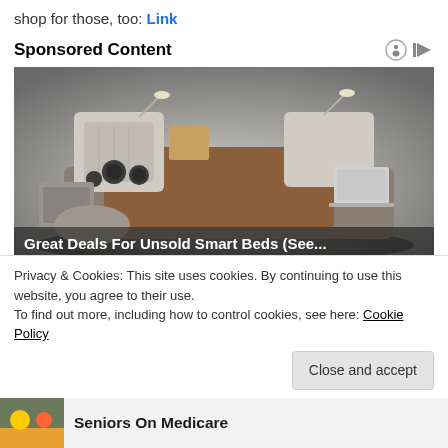shop for those, too: Link
Sponsored Content
[Figure (photo): A luxury smart bed with multiple features including speakers, storage drawers, massage chair, reading lamps, and a laptop stand, photographed in a product showcase style.]
Great Deals For Unsold Smart Beds (See...
Privacy & Cookies: This site uses cookies. By continuing to use this website, you agree to their use.
To find out more, including how to control cookies, see here: Cookie Policy
Close and accept
Seniors On Medicare